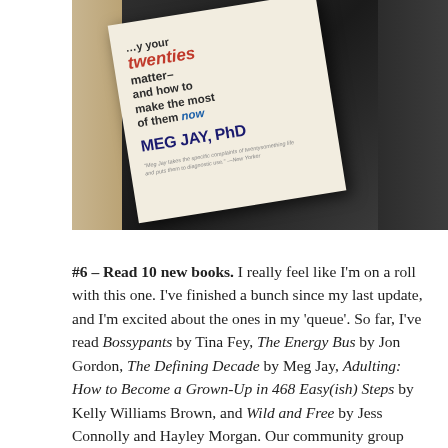[Figure (photo): Photo of a book titled 'Why Your Twenties Matter and how to make the most of them now' by Meg Jay, PhD, lying on a dark blanket/fabric surface with fur visible on the left side.]
#6 – Read 10 new books. I really feel like I'm on a roll with this one. I've finished a bunch since my last update, and I'm excited about the ones in my 'queue'. So far, I've read Bossypants by Tina Fey, The Energy Bus by Jon Gordon, The Defining Decade by Meg Jay, Adulting: How to Become a Grown-Up in 468 Easy(ish) Steps by Kelly Williams Brown, and Wild and Free by Jess Connolly and Hayley Morgan. Our community group from church is reading The Meaning of Marriage by Tim Keller, and I'm also working my way through Redeeming Love by Francine Rivers again (I've read